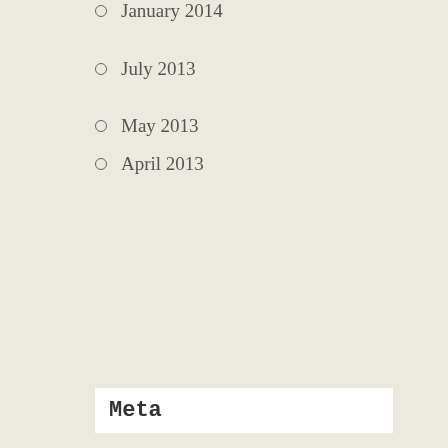January 2014
July 2013
May 2013
April 2013
Meta
Register
Log in
Entries feed
Comments feed
WordPress.com